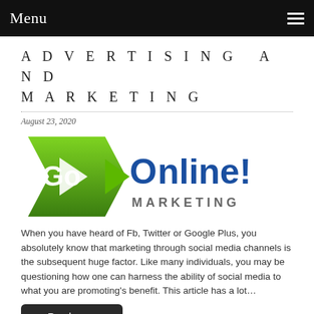Menu
ADVERTISING AND MARKETING
August 23, 2020
[Figure (logo): Go Online! Marketing logo — green arrow/play-button shape on the left with white 'Go' text, and blue 'Online!' text with 'MARKETING' in grey below]
When you have heard of Fb, Twitter or Google Plus, you absolutely know that marketing through social media channels is the subsequent huge factor. Like many individuals, you may be questioning how one can harness the ability of social media to what you are promoting's benefit. This article has a lot…
Read more